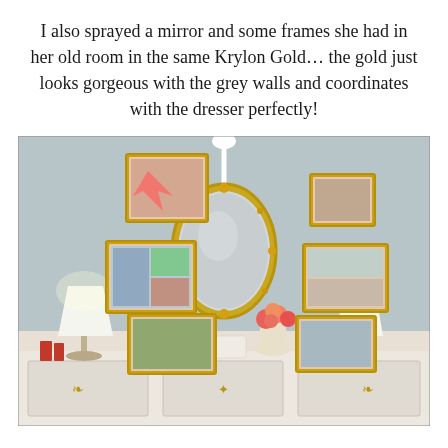I also sprayed a mirror and some frames she had in her old room in the same Krylon Gold… the gold just looks gorgeous with the grey walls and coordinates with the dresser perfectly!
[Figure (photo): A bedroom dresser scene with a grey wall featuring a gold ornate oval mirror hanging from a white ribbon, surrounded by six gold-framed photos arranged in a decorative gallery wall pattern. Below is a white dresser with gold hardware, a white table lamp on the left, a vase of orange/pink flowers in the center, and another white lamp on the right.]